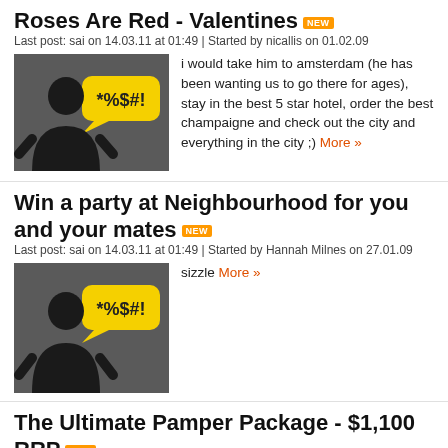Roses Are Red - Valentines [NEW]
Last post: sai on 14.03.11 at 01:49 | Started by nicallis on 01.02.09
[Figure (illustration): Dark grey square thumbnail with silhouette of person and yellow speech bubble saying *%$#!]
i would take him to amsterdam (he has been wanting us to go there for ages), stay in the best 5 star hotel, order the best champaigne and check out the city and everything in the city ;) More »
Win a party at Neighbourhood for you and your mates [NEW]
Last post: sai on 14.03.11 at 01:49 | Started by Hannah Milnes on 27.01.09
[Figure (illustration): Dark grey square thumbnail with silhouette of person and yellow speech bubble saying *%$#!]
sizzle More »
The Ultimate Pamper Package - $1,100 RRP [NEW]
Last post: sai on 14.03.11 at 01:45 | Started by Mike on 04.02.09
[Figure (illustration): Dark grey square thumbnail with silhouette of person and yellow speech bubble saying *%$#!]
i would love love love the tamara spa package...ive always wanted to go for one but